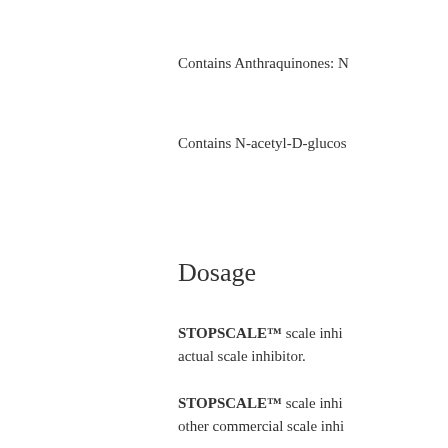Contains Anthraquinones: N
Contains N-acetyl-D-glucos
Dosage
STOPSCALE™ scale inhi actual scale inhibitor.
STOPSCALE™ scale inhi other commercial scale inhi
Presentation
STOPSCALE™